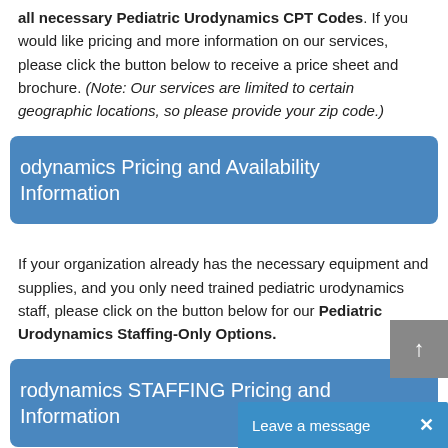all necessary Pediatric Urodynamics CPT Codes. If you would like pricing and more information on our services, please click the button below to receive a price sheet and brochure. (Note: Our services are limited to certain geographic locations, so please provide your zip code.)
odynamics Pricing and Availability Information
If your organization already has the necessary equipment and supplies, and you only need trained pediatric urodynamics staff, please click on the button below for our Pediatric Urodynamics Staffing-Only Options.
rodynamics STAFFING Pricing and Information
Due to the invasive nature of urodynamic testing, this procedure can be traumatic for children. It is important that knowledgeable staff is available to